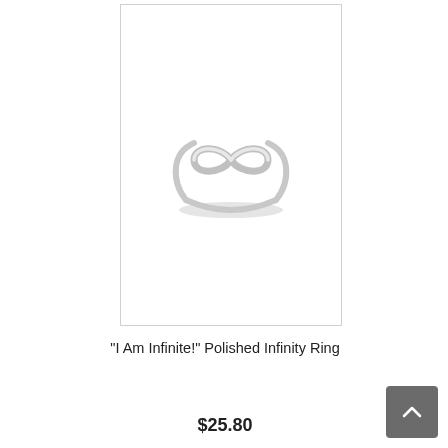[Figure (photo): Product photo of a silver infinity ring on a white background, showing the figure-8 infinity symbol on a thin band ring with a subtle shadow beneath it]
"I Am Infinite!" Polished Infinity Ring
$25.80